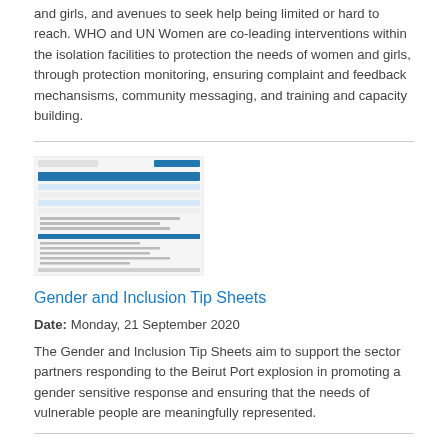and girls, and avenues to seek help being limited or hard to reach. WHO and UN Women are co-leading interventions within the isolation facilities to protection the needs of women and girls, through protection monitoring, ensuring complaint and feedback mechansisms, community messaging, and training and capacity building.
[Figure (screenshot): Thumbnail image of a document page showing a formatted report with blue header and text rows]
Gender and Inclusion Tip Sheets
Date: Monday, 21 September 2020
The Gender and Inclusion Tip Sheets aim to support the sector partners responding to the Beirut Port explosion in promoting a gender sensitive response and ensuring that the needs of vulnerable people are meaningfully represented.